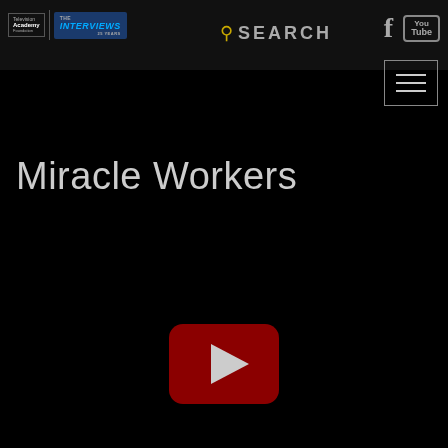[Figure (logo): Television Academy Foundation - The Interviews 25 Years logo]
SEARCH
[Figure (logo): Facebook icon]
[Figure (logo): YouTube icon box]
[Figure (other): Hamburger menu button with three horizontal lines]
Miracle Workers
[Figure (other): YouTube play button (red rounded rectangle with white triangle)]